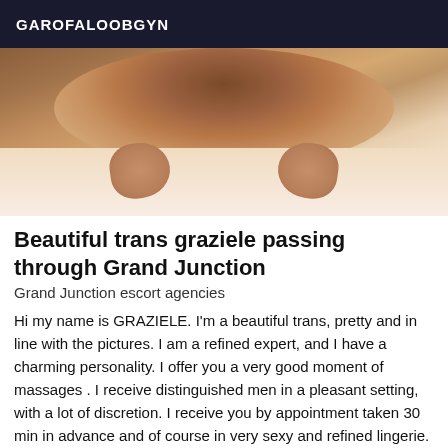GAROFALOOBGYN
[Figure (photo): Close-up photo of a person's lower body on a white surface]
Beautiful trans graziele passing through Grand Junction
Grand Junction escort agencies
Hi my name is GRAZIELE. I'm a beautiful trans, pretty and in line with the pictures. I am a refined expert, and I have a charming personality. I offer you a very good moment of massages . I receive distinguished men in a pleasant setting, with a lot of discretion. I receive you by appointment taken 30 min in advance and of course in very sexy and refined lingerie. I will be your ideal companion for an unforgettable moment of massage. All